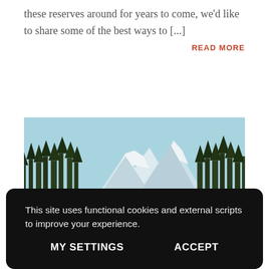these reserves around for years to come, we'd like to share some of the best ways to [...]
READ MORE
[Figure (photo): Landscape photo of tall coniferous trees (spruce/fir) in a meadow with snow-capped mountain peaks visible in the background under a clear blue sky.]
This site uses functional cookies and external scripts to improve your experience.
MY SETTINGS
ACCEPT